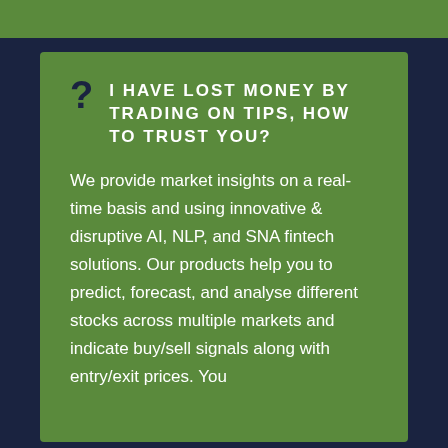I HAVE LOST MONEY BY TRADING ON TIPS, HOW TO TRUST YOU?
We provide market insights on a real-time basis and using innovative & disruptive AI, NLP, and SNA fintech solutions. Our products help you to predict, forecast, and analyse different stocks across multiple markets and indicate buy/sell signals along with entry/exit prices. You